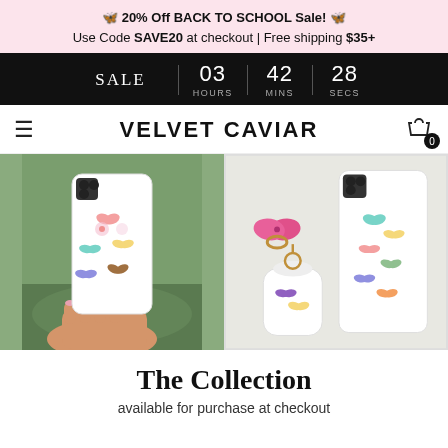🦋 20% Off BACK TO SCHOOL Sale! 🦋
Use Code SAVE20 at checkout | Free shipping $35+
SALE | 03 HOURS | 42 MINS | 28 SECS
VELVET CAVIAR
[Figure (photo): Person holding a butterfly-patterned iPhone case outdoors with green background]
[Figure (photo): Butterfly-patterned phone case, AirPods case, and butterfly phone ring laid on a white surface]
The Collection
available for purchase at checkout